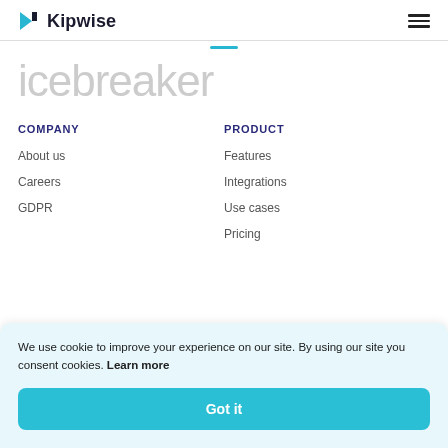Kipwise
icebreaker
COMPANY
About us
Careers
GDPR
PRODUCT
Features
Integrations
Use cases
Pricing
We use cookie to improve your experience on our site. By using our site you consent cookies. Learn more
Got it